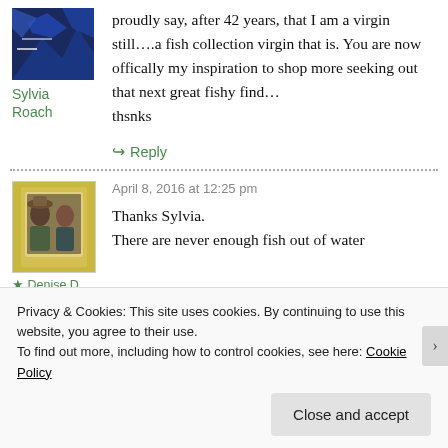proudly say, after 42 years, that I am a virgin still....a fish collection virgin that is. You are now offically my inspiration to shop more seeking out that next great fishy find... thsnks
Sylvia Roach
↪ Reply
April 8, 2016 at 12:25 pm
Thanks Sylvia. There are never enough fish out of water
★ Denise D
Privacy & Cookies: This site uses cookies. By continuing to use this website, you agree to their use. To find out more, including how to control cookies, see here: Cookie Policy
Close and accept